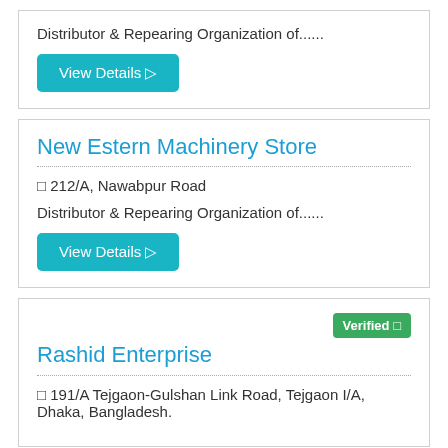Distributor & Repearing Organization of......
View Details □
New Estern Machinery Store
□ 212/A, Nawabpur Road
Distributor & Repearing Organization of......
View Details □
Rashid Enterprise
Verified □
□ 191/A Tejgaon-Gulshan Link Road, Tejgaon I/A, Dhaka, Bangladesh.